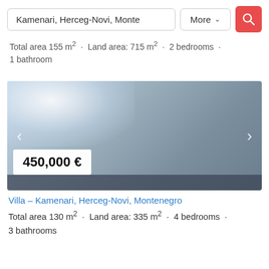Kamenari, Herceg-Novi, Monte
Total area 155 m² · Land area: 715 m² · 2 bedrooms · 1 bathroom
[Figure (photo): Real estate listing photo for a Villa in Kamenari, Herceg-Novi, Montenegro with a gradient/blurred image showing price badge of 450,000 €]
Villa – Kamenari, Herceg-Novi, Montenegro
Total area 130 m² · Land area: 335 m² · 4 bedrooms · 3 bathrooms